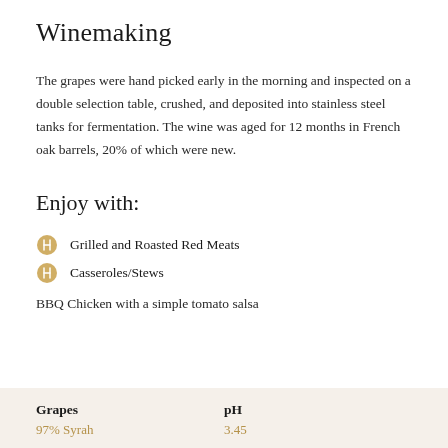Winemaking
The grapes were hand picked early in the morning and inspected on a double selection table, crushed, and deposited into stainless steel tanks for fermentation. The wine was aged for 12 months in French oak barrels, 20% of which were new.
Enjoy with:
Grilled and Roasted Red Meats
Casseroles/Stews
BBQ Chicken with a simple tomato salsa
| Grapes | pH |
| --- | --- |
| 97% Syrah | 3.45 |